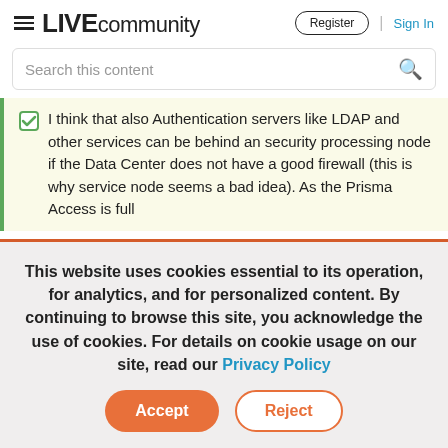LIVE community | Register | Sign In
Search this content
I think that also Authentication servers like LDAP and other services can be behind an security processing node if the Data Center does not have a good firewall (this is why service node seems a bad idea). As the Prisma Access is full
This website uses cookies essential to its operation, for analytics, and for personalized content. By continuing to browse this site, you acknowledge the use of cookies. For details on cookie usage on our site, read our Privacy Policy
Accept
Reject